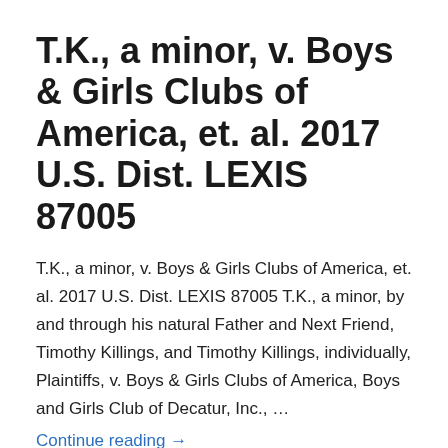T.K., a minor, v. Boys & Girls Clubs of America, et. al. 2017 U.S. Dist. LEXIS 87005
T.K., a minor, v. Boys & Girls Clubs of America, et. al. 2017 U.S. Dist. LEXIS 87005 T.K., a minor, by and through his natural Father and Next Friend, Timothy Killings, and Timothy Killings, individually, Plaintiffs, v. Boys & Girls Clubs of America, Boys and Girls Club of Decatur, Inc., …
Continue reading →
July 18, 2017
Leave a Reply
European Parliament Ignore 100 Million Cyclists